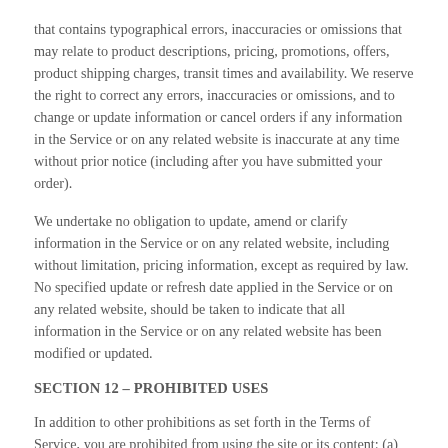that contains typographical errors, inaccuracies or omissions that may relate to product descriptions, pricing, promotions, offers, product shipping charges, transit times and availability. We reserve the right to correct any errors, inaccuracies or omissions, and to change or update information or cancel orders if any information in the Service or on any related website is inaccurate at any time without prior notice (including after you have submitted your order).
We undertake no obligation to update, amend or clarify information in the Service or on any related website, including without limitation, pricing information, except as required by law. No specified update or refresh date applied in the Service or on any related website, should be taken to indicate that all information in the Service or on any related website has been modified or updated.
SECTION 12 – PROHIBITED USES
In addition to other prohibitions as set forth in the Terms of Service, you are prohibited from using the site or its content: (a) for any unlawful purpose; (b) to solicit others to perform or participate